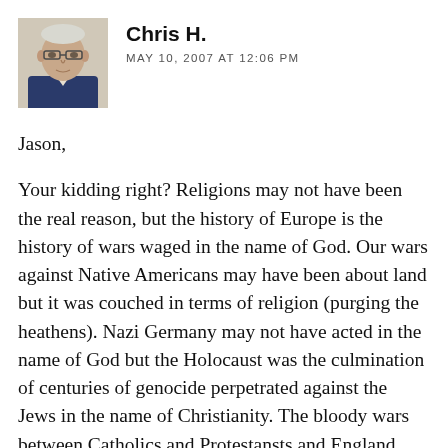[Figure (photo): Headshot photo of an elderly man wearing glasses and a dark jacket, painted or illustrated style portrait]
Chris H.
MAY 10, 2007 AT 12:06 PM
Jason,
Your kidding right? Religions may not have been the real reason, but the history of Europe is the history of wars waged in the name of God. Our wars against Native Americans may have been about land but it was couched in terms of religion (purging the heathens). Nazi Germany may not have acted in the name of God but the Holocaust was the culmination of centuries of genocide perpetrated against the Jews in the name of Christianity. The bloody wars between Catholics and Protestansts and England inspired Hobbes and Locke to look for state authority outside of religion. The civil wars of Indian and the later conflicts between India and Pakistan. Heck, even Pres. Bush uses religious rhetoric to